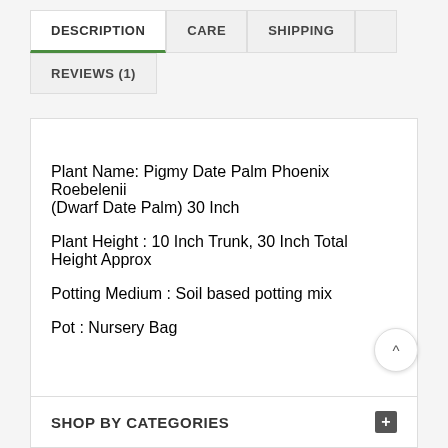DESCRIPTION | CARE | SHIPPING | REVIEWS (1)
Plant Name: Pigmy Date Palm Phoenix Roebelenii (Dwarf Date Palm) 30 Inch
Plant Height : 10 Inch Trunk, 30 Inch Total Height Approx
Potting Medium : Soil based potting mix
Pot : Nursery Bag
SHOP BY CATEGORIES